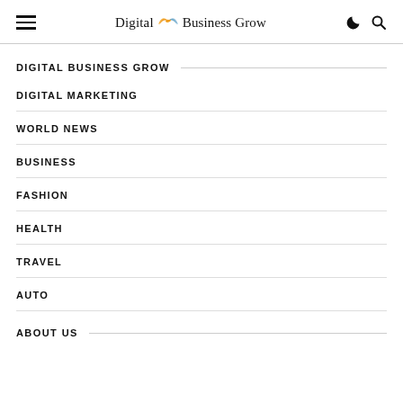Digital Business Grow
DIGITAL BUSINESS GROW
DIGITAL MARKETING
WORLD NEWS
BUSINESS
FASHION
HEALTH
TRAVEL
AUTO
ABOUT US